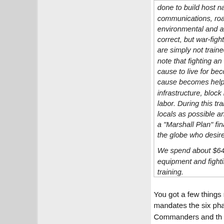done to build host nation governance, utilities--water, communications, roads and refuse collection, medical, environmental and all of "Quality of Life." It's not our job is correct, but war-fighters are trained to fight, and leaders are simply not trained to manage war. It is important to note that fighting an insurgency--it simply means that the cause to live for becomes more important to die. And that cause becomes helping to rebuild that nation's infrastructure, block by block and village by village using labor. During this transition period, we must hire as many locals as possible and train. In essence every war needs a "Marshall Plan" financed by wealthier nations around the globe who desire stability and resources...

We spend about $640 billion at home and abroad on equipment and fighting but only a pittance on language training.
You got a few things right, and doctrine no longer mandates the six phase construct to begin with. Commanders and th